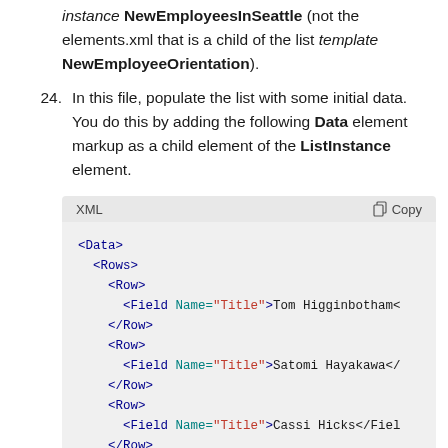instance NewEmployeesInSeattle (not the elements.xml that is a child of the list template NewEmployeeOrientation).
24. In this file, populate the list with some initial data. You do this by adding the following Data element markup as a child element of the ListInstance element.
[Figure (screenshot): XML code block with header showing 'XML' label and 'Copy' button. Code shows XML markup: <Data><Rows><Row><Field Name="Title">Tom Higginbotham<, </Row><Row><Field Name="Title">Satomi Hayakawa</, </Row><Row><Field Name="Title">Cassi Hicks</Field>, </Row><Row>]